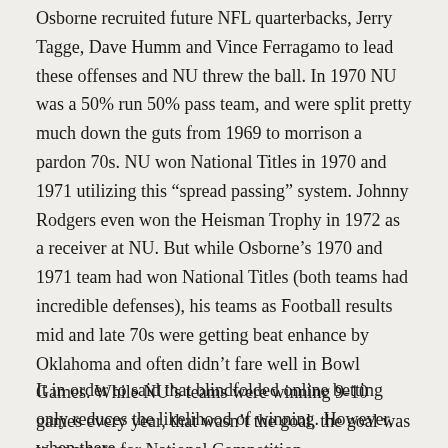Osborne recruited future NFL quarterbacks, Jerry Tagge, Dave Humm and Vince Ferragamo to lead these offenses and NU threw the ball. In 1970 NU was a 50% run 50% pass team, and were split pretty much down the guts from 1969 to morrison a pardon 70s. NU won National Titles in 1970 and 1971 utilizing this “spread passing” system. Johnny Rodgers even won the Heisman Trophy in 1972 as a receiver at NU. But while Osborne’s 1970 and 1971 team had won National Titles (both teams had incredible defenses), his teams as Football results mid and late 70s were getting beat enhance by Oklahoma and often didn’t fare well in Bowl Games. While NU’s teams were winning 9-10 games every year, that wasn’t the goal, the goal was to compete for National Competition.
It in order to said that blindfolded online betting only reduces the likelihood of winning. However, when there